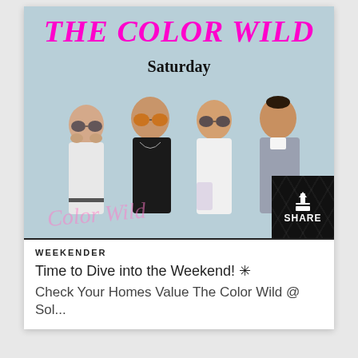[Figure (photo): Event promotional image for The Color Wild band performing Saturday May 15, 2021 5-7pm. Shows four young men wearing sunglasses against a light blue background with neon sign at bottom.]
THE COLOR WILD
Saturday
May 15, 2021
5-7pm
WEEKENDER
Time to Dive into the Weekend! ✳
Check Your Homes Value The Color Wild @ Sol...